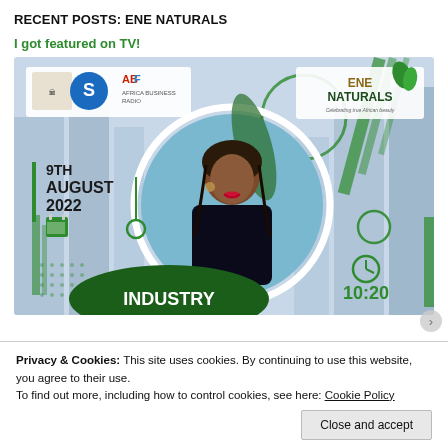RECENT POSTS: ENE NATURALS
I got featured on TV!
[Figure (photo): Promotional graphic for ENE Naturals TV appearance. Shows a woman smiling in a circular frame, logo of ENE Naturals top right with green leaf icon, sponsor logos top left, date '9TH AUGUST 2022' with calendar icon, 'INDUSTRY' on green banner, time '10:20' with clock icon, city skyline background.]
Privacy & Cookies: This site uses cookies. By continuing to use this website, you agree to their use.
To find out more, including how to control cookies, see here: Cookie Policy
Close and accept